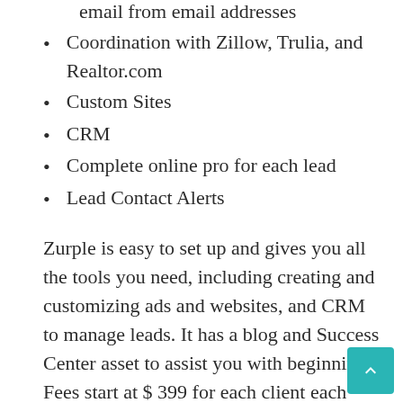email from email addresses
Coordination with Zillow, Trulia, and Realtor.com
Custom Sites
CRM
Complete online pro for each lead
Lead Contact Alerts
Zurple is easy to set up and gives you all the tools you need, including creating and customizing ads and websites, and CRM to manage leads. It has a blog and Success Center asset to assist you with beginning Fees start at $ 399 for each client each month, and onboarding expenses rang from $ 199 to $ 499. The minimum monthly advertising cost is $ 250 per month.